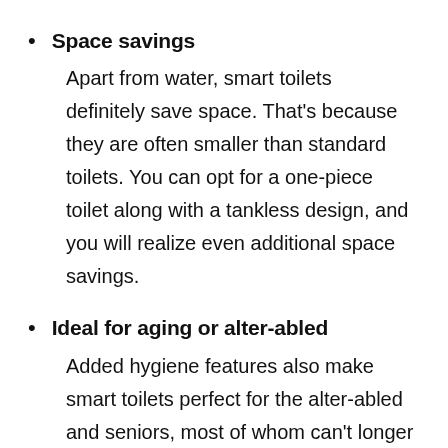Space savings
Apart from water, smart toilets definitely save space. That's because they are often smaller than standard toilets. You can opt for a one-piece toilet along with a tankless design, and you will realize even additional space savings.
Ideal for aging or alter-abled
Added hygiene features also make smart toilets perfect for the alter-abled and seniors, most of whom can't longer reach the small spaces and hidden surfaces of a